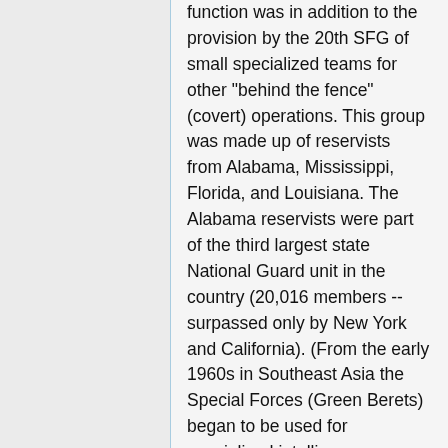function was in addition to the provision by the 20th SFG of small specialized teams for other "behind the fence" (covert) operations. This group was made up of reservists from Alabama, Mississippi, Florida, and Louisiana. The Alabama reservists were part of the third largest state National Guard unit in the country (20,016 members -- surpassed only by New York and California). (From the early 1960s in Southeast Asia the Special Forces (Green Berets) began to be used for specialized intelligence-gathering functions in addition to their covert mission activity.)
the state the state state